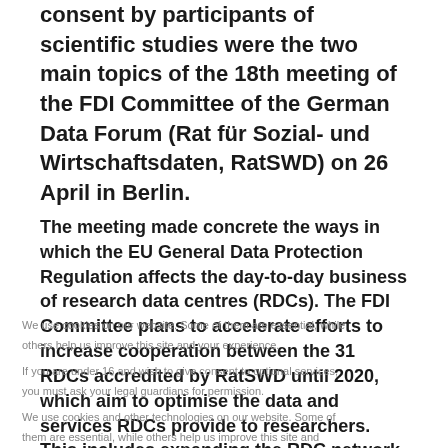consent by participants of scientific studies were the two main topics of the 18th meeting of the FDI Committee of the German Data Forum (Rat für Sozial- und Wirtschaftsdaten, RatSWD) on 26 April in Berlin.
The meeting made concrete the ways in which the EU General Data Protection Regulation affects the day-to-day business of research data centres (RDCs). The FDI Committee plans to accelerate efforts to increase cooperation between the 31 RDCs accredited by RatSWD until 2020, which aim to optimise the data and services RDCs provide to researchers. This includes expanding the RDC network. Two RDCs, which are currently in the set-up phase, presented themselves at the meeting: the Federal Motor Transport Authority (KBA) and et abour...
We use cookies on our website. Some of them are essential, while others help us improve this site and your experience.

If you are under 16 and wish to give consent to optional services, you must ask your legal guardians for permission.

We use cookies and other technologies on our website. Some of them are essential, while others help us improve this site and your experience. Personal data may be processed (e.g. IP addresses).